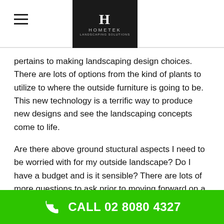HOMETEK
pertains to making landscaping design choices. There are lots of options from the kind of plants to utilize to where the outside furniture is going to be. This new technology is a terrific way to produce new designs and see the landscaping concepts come to life.
Are there above ground stuctural aspects I need to be worried with for my outside landscape? Do I have a budget and is it sensible? There are lots of more questions to ask prior to moving forward on a garden design strategy.
It might benefit you to talk to a garden designer or landscape designer and see if dealing with an expert
CALL 02 8080 4327